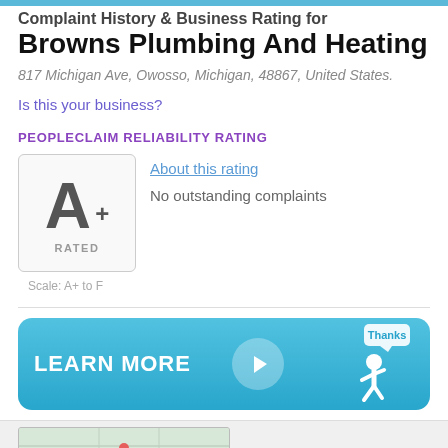Complaint History & Business Rating for
Browns Plumbing And Heating
817 Michigan Ave, Owosso, Michigan, 48867, United States.
Is this your business?
PEOPLECLAIM RELIABILITY RATING
[Figure (infographic): A+ rating card with 'RATED' label below, showing a large bold A with superscript plus sign inside a rounded rectangle box. Below the box: Scale: A+ to F. To the right: 'About this rating' link and 'No outstanding complaints' text.]
[Figure (infographic): A blue rounded rectangle banner reading 'LEARN MORE' on the left, a play button circle in the center, and a white walking figure illustration with a 'Thanks' speech bubble on the right.]
[Figure (map): Partial map preview at the bottom of the page.]